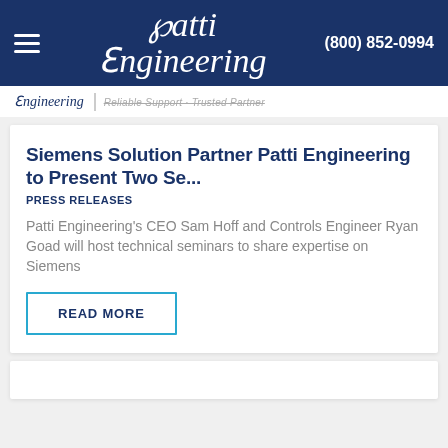Patti Engineering | (800) 852-0994
[Figure (logo): Patti Engineering logo with stylized P and E in italic serif font, white on dark navy background, with tagline 'Reliable Support · Trusted Partner']
Siemens Solution Partner Patti Engineering to Present Two Se...
PRESS RELEASES
Patti Engineering's CEO Sam Hoff and Controls Engineer Ryan Goad will host technical seminars to share expertise on Siemens
READ MORE